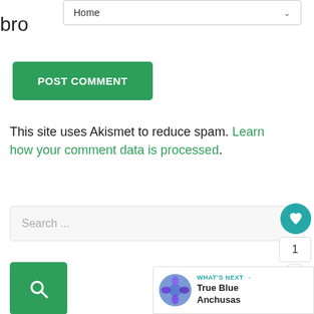bro
Home
POST COMMENT
This site uses Akismet to reduce spam. Learn how your comment data is processed.
Search ...
1
WHAT'S NEXT → True Blue Anchusas